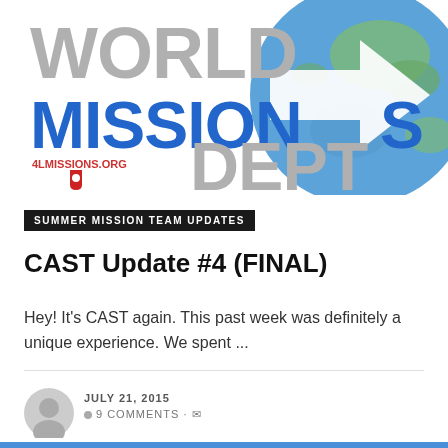[Figure (logo): World Missions Dept logo with globe and arrow graphic. Text reads WORLD MISSIONS DEPT with 4lmissions.org and Salvation Army shield icon in blue and red.]
SUMMER MISSION TEAM UPDATES
CAST Update #4 (FINAL)
Hey! It's CAST again. This past week was definitely a unique experience. We spent ...
JULY 21, 2015
9 COMMENTS